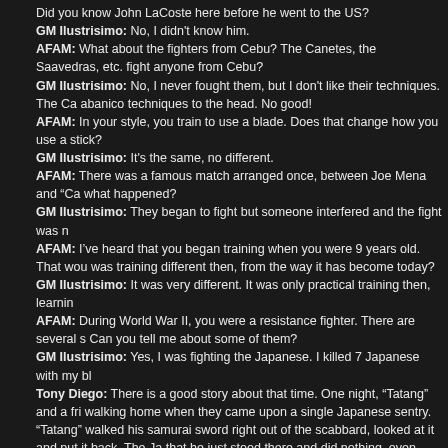Did you know John LaCoste here before he went to the US?
GM Ilustrisimo: No, I didn't know him.
AFAM:   What about the fighters from Cebu? The Canetes, the Saavedras, etc. fight anyone from Cebu?
GM Ilustrisimo: No, I never fought them, but I don't like their techniques. The Ca abanico techniques to the head. No good!
AFAM:  In your style, you train to use a blade. Does that change how you use a stick?
GM Ilustrisimo: It's the same, no different.
AFAM: There was a famous match arranged once, between Joe Mena and “Ca what happened?
GM Ilustrisimo:   They began to fight but someone interfered and the fight was n
AFAM: I’ve heard that you began training when you were 9 years old. That wou was training different then, from the way it has become today?
GM Ilustrisimo:   It was very different. It was only practical training then, learnin
AFAM:   During World War II, you were a resistance fighter. There are several s Can you tell me about some of them?
GM Ilustrisimo: Yes, I was fighting the Japanese. I killed 7 Japanese with my bl
Tony Diego: There is a good story about that time. One night, “Tatang” and a fri walking home when they came upon a single Japanese sentry. “Tatang” walked his samurai sword right out of the scabbard, looked at it and put it back. The Ja that he just stood there and did nothing, even though he had a gun.